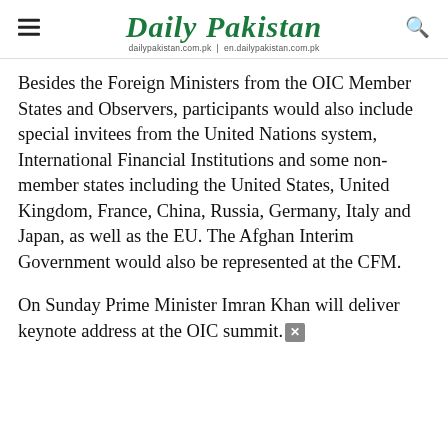Daily Pakistan
dailypakistan.com.pk | en.dailypakistan.com.pk
Besides the Foreign Ministers from the OIC Member States and Observers, participants would also include special invitees from the United Nations system, International Financial Institutions and some non-member states including the United States, United Kingdom, France, China, Russia, Germany, Italy and Japan, as well as the EU. The Afghan Interim Government would also be represented at the CFM.
On Sunday Prime Minister Imran Khan will deliver keynote address at the OIC summit.